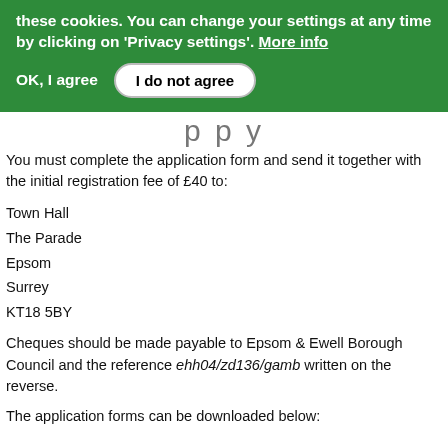these cookies. You can change your settings at any time by clicking on 'Privacy settings'. More info
OK, I agree   I do not agree
You must complete the application form and send it together with the initial registration fee of £40 to:
Town Hall
The Parade
Epsom
Surrey
KT18 5BY
Cheques should be made payable to Epsom & Ewell Borough Council and the reference ehh04/zd136/gamb written on the reverse.
The application forms can be downloaded below: